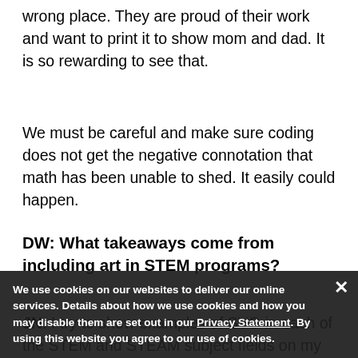wrong place. They are proud of their work and want to print it to show mom and dad. It is so rewarding to see that.
We must be careful and make sure coding does not get the negative connotation that math has been unable to shed. It easily could happen.
DW: What takeaways come from including art in STEM programs?
JN: I try to show examples of SVG in each of the STEM and STEAM subject fields on my website, STEAMended.org. There are plenty of ways to
We use cookies on our websites to deliver our online services. Details about how we use cookies and how you may disable them are set out in our Privacy Statement. By using this website you agree to our use of cookies.